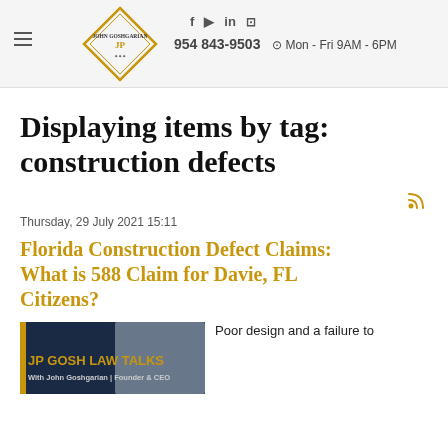John Goshgarian | 954 843-9503 | Mon - Fri 9AM - 6PM
Displaying items by tag: construction defects
Thursday, 29 July 2021 15:11
Florida Construction Defect Claims: What is 588 Claim for Davie, FL Citizens?
[Figure (photo): JP Gosh Law Talks promotional image with dark blue background and construction tools visible]
Poor design and a failure to